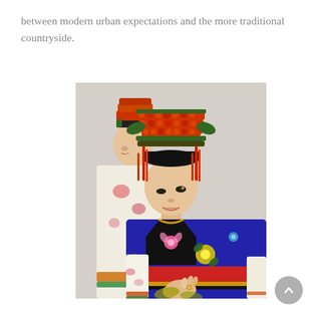between modern urban expectations and the more traditional countryside.
[Figure (photo): Two women wearing traditional Chinese ethnic minority costumes. The woman in the foreground wears an elaborate orange/red beaded headdress and a richly embroidered blue silk robe with floral patterns and a red sash. The woman behind her is in profile wearing a similar style headdress.]